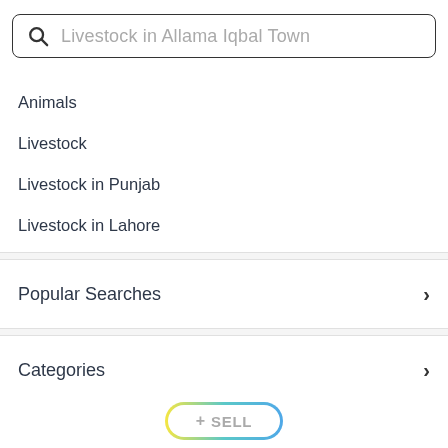[Figure (screenshot): Search bar with magnifying glass icon and placeholder text 'Livestock in Allama Iqbal Town']
Animals
Livestock
Livestock in Punjab
Livestock in Lahore
Popular Searches
Categories
Filters
Popular Categories
[Figure (screenshot): Bottom navigation bar with a '+ SELL' pill button with a yellow and blue gradient border]